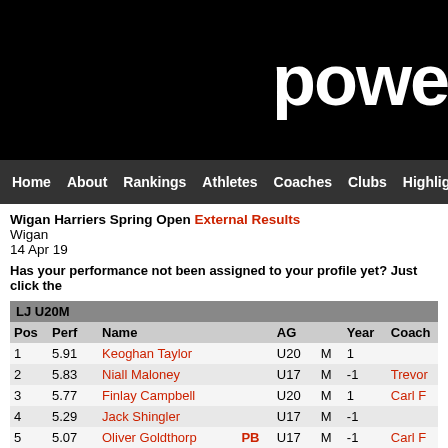powe
Home  About  Rankings  Athletes  Coaches  Clubs  Highlight
Wigan Harriers Spring Open External Results
Wigan
14 Apr 19
Has your performance not been assigned to your profile yet? Just click the
| LJ U20M |  |  |  |  |  |  |  |
| --- | --- | --- | --- | --- | --- | --- | --- |
| Pos | Perf | Name |  | AG |  | Year | Coach |
| 1 | 5.91 | Keoghan Taylor |  | U20 | M | 1 |  |
| 2 | 5.83 | Niall Maloney |  | U17 | M | -1 | Trevor |
| 3 | 5.77 | Finlay Campbell |  | U20 | M | 1 | Carl F |
| 4 | 5.29 | Jack Shingler |  | U17 | M | -1 |  |
| 5 | 5.07 | Oliver Goldthorp | PB | U17 | M | -1 | Carl F |
| LJ U15M |  |  |  |  |  |  |  |
| --- | --- | --- | --- | --- | --- | --- | --- |
| Pos | Perf | Name |  | AG |  | Year | Coach |